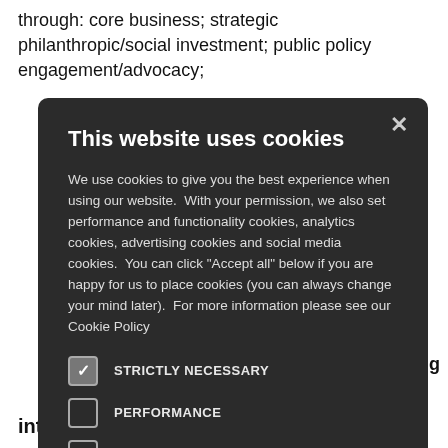through: core business; strategic philanthropic/social investment; public policy engagement/advocacy;
ective action
[Figure (screenshot): Cookie consent modal dialog on dark background with title 'This website uses cookies', descriptive text about cookie usage, and five cookie category checkboxes: STRICTLY NECESSARY (checked), PERFORMANCE (unchecked), ANALYTICS (unchecked), FUNCTIONALITY (unchecked), SOCIAL MEDIA (unchecked). An X close button is in the top right.]
ctivities that the COP to fulfill metrics, and
udes an nan rights 8)
tices
itive monitoring an rights
integration